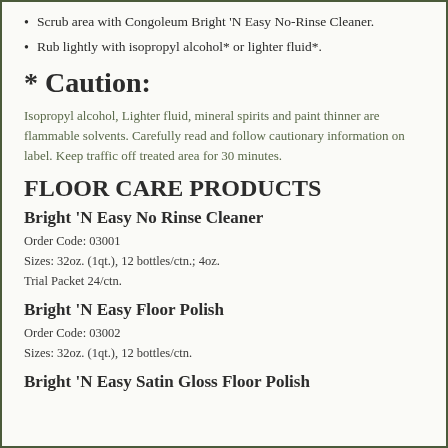Scrub area with Congoleum Bright 'N Easy No-Rinse Cleaner.
Rub lightly with isopropyl alcohol* or lighter fluid*.
* Caution:
Isopropyl alcohol, Lighter fluid, mineral spirits and paint thinner are flammable solvents. Carefully read and follow cautionary information on label. Keep traffic off treated area for 30 minutes.
FLOOR CARE PRODUCTS
Bright ‘N Easy No Rinse Cleaner
Order Code: 03001
Sizes: 32oz. (1qt.), 12 bottles/ctn.; 4oz.
Trial Packet 24/ctn.
Bright ‘N Easy Floor Polish
Order Code: 03002
Sizes: 32oz. (1qt.), 12 bottles/ctn.
Bright ‘N Easy Satin Gloss Floor Polish